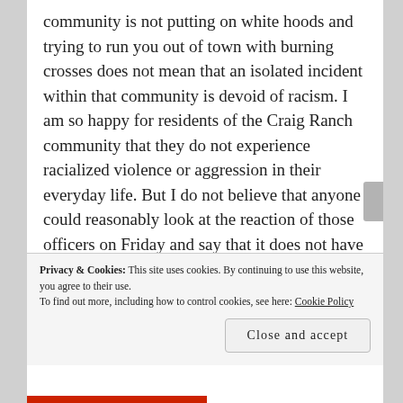community is not putting on white hoods and trying to run you out of town with burning crosses does not mean that an isolated incident within that community is devoid of racism. I am so happy for residents of the Craig Ranch community that they do not experience racialized violence or aggression in their everyday life. But I do not believe that anyone could reasonably look at the reaction of those officers on Friday and say that it does not have something to do with race. Or at the actions of grown white women throwing racial slurs at a teenage girl. Or at the authorities of the pool who manage to overlook the guest rule until the population
Privacy & Cookies: This site uses cookies. By continuing to use this website, you agree to their use. To find out more, including how to control cookies, see here: Cookie Policy
Close and accept